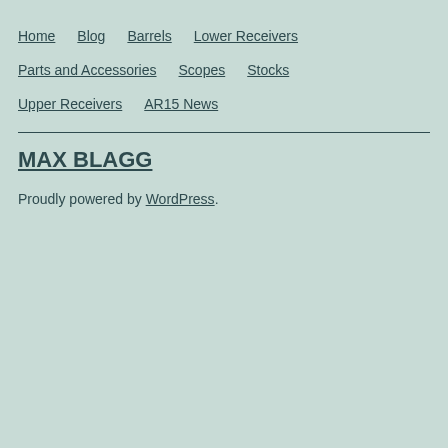Home
Blog
Barrels
Lower Receivers
Parts and Accessories
Scopes
Stocks
Upper Receivers
AR15 News
MAX BLAGG
Proudly powered by WordPress.